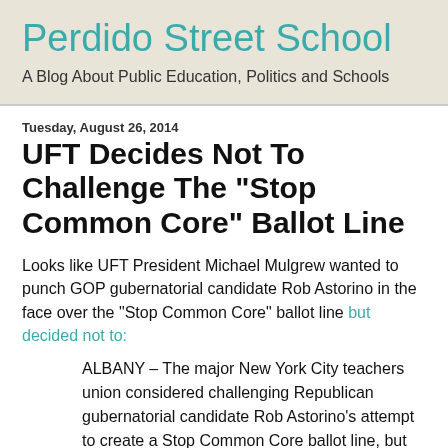Perdido Street School
A Blog About Public Education, Politics and Schools
Tuesday, August 26, 2014
UFT Decides Not To Challenge The "Stop Common Core" Ballot Line
Looks like UFT President Michael Mulgrew wanted to punch GOP gubernatorial candidate Rob Astorino in the face over the "Stop Common Core" ballot line but decided not to:
ALBANY – The major New York City teachers union considered challenging Republican gubernatorial candidate Rob Astorino's attempt to create a Stop Common Core ballot line, but decided against it.